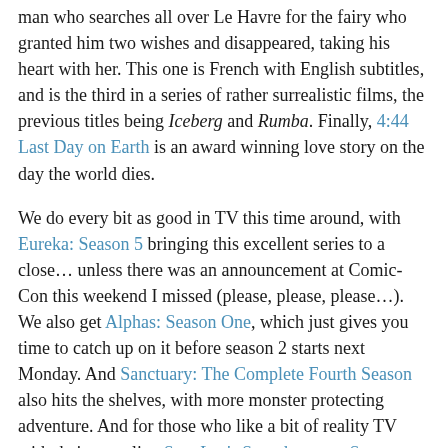man who searches all over Le Havre for the fairy who granted him two wishes and disappeared, taking his heart with her. This one is French with English subtitles, and is the third in a series of rather surrealistic films, the previous titles being Iceberg and Rumba. Finally, 4:44 Last Day on Earth is an award winning love story on the day the world dies.
We do every bit as good in TV this time around, with Eureka: Season 5 bringing this excellent series to a close… unless there was an announcement at Comic-Con this weekend I missed (please, please, please…). We also get Alphas: Season One, which just gives you time to catch up on it before season 2 starts next Monday. And Sanctuary: The Complete Fourth Season also hits the shelves, with more monster protecting adventure. And for those who like a bit of reality TV with their unreality, Stan Lee's Superhumans: Season Two is also going to become available.